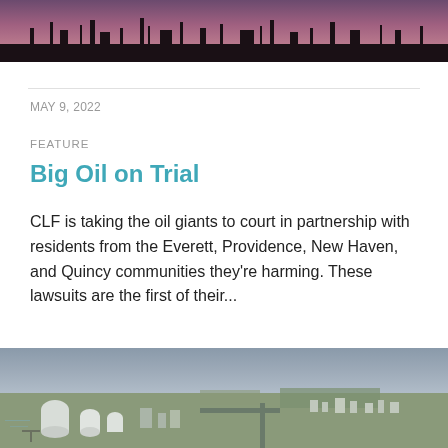[Figure (photo): Industrial silhouette against a purple and pink sunset sky, showing factory or refinery structures along a horizon line]
MAY 9, 2022
FEATURE
Big Oil on Trial
CLF is taking the oil giants to court in partnership with residents from the Everett, Providence, New Haven, and Quincy communities they're harming. These lawsuits are the first of their...
[Figure (photo): Aerial photograph of an industrial waterfront area with storage tanks, roads, and a coastal town in the background under an overcast sky]